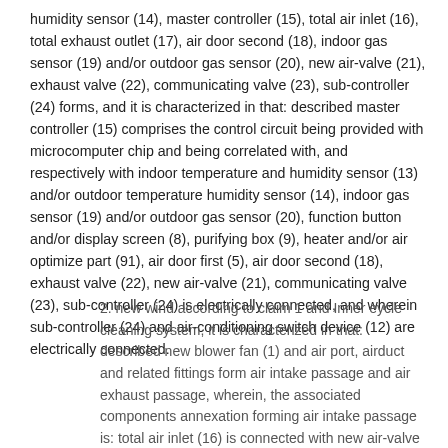humidity sensor (14), master controller (15), total air inlet (16), total exhaust outlet (17), air door second (18), indoor gas sensor (19) and/or outdoor gas sensor (20), new air-valve (21), exhaust valve (22), communicating valve (23), sub-controller (24) forms, and it is characterized in that: described master controller (15) comprises the control circuit being provided with microcomputer chip and being correlated with, and respectively with indoor temperature and humidity sensor (13) and/or outdoor temperature humidity sensor (14), indoor gas sensor (19) and/or outdoor gas sensor (20), function button and/or display screen (8), purifying box (9), heater and/or air optimize part (91), air door first (5), air door second (18), exhaust valve (22), new air-valve (21), communicating valve (23), sub-controller (24) is electrically connected, and wherein sub-controller (24) and air-conditioning switch device (12) are electrically connected.
2. new wind according to claim 1 and Inner eycle cleaning system, it is characterized in that: described new blower fan (1) and air port, airduct and related fittings form air intake passage and air exhaust passage, wherein, the associated components annexation forming air intake passage is: total air inlet (16) is connected with new air-valve (21), the other end of new air-valve is connected with